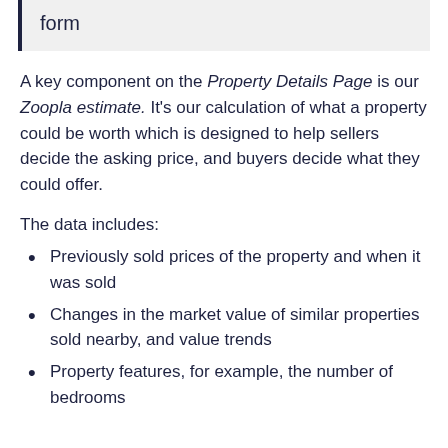form
A key component on the Property Details Page is our Zoopla estimate. It's our calculation of what a property could be worth which is designed to help sellers decide the asking price, and buyers decide what they could offer.
The data includes:
Previously sold prices of the property and when it was sold
Changes in the market value of similar properties sold nearby, and value trends
Property features, for example, the number of bedrooms